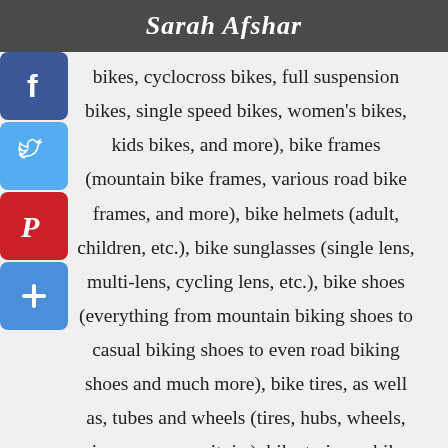Sarah Afshar
bikes, cyclocross bikes, full suspension bikes, single speed bikes, women's bikes, kids bikes, and more), bike frames (mountain bike frames, various road bike frames, and more), bike helmets (adult, children, etc.), bike sunglasses (single lens, multi-lens, cycling lens, etc.), bike shoes (everything from mountain biking shoes to casual biking shoes to even road biking shoes and much more), bike tires, as well as, tubes and wheels (tires, hubs, wheels, rims, you name it, ie.), bike trainers, bike tools (various tools and workstands, as well as, lubes, degreasers, transports, packs, racks, and much more), bike lights, bike pumps, bike locks, GPS, heart monitors, energy drinks, energy bars, hydration packs, personal care aids, and more.